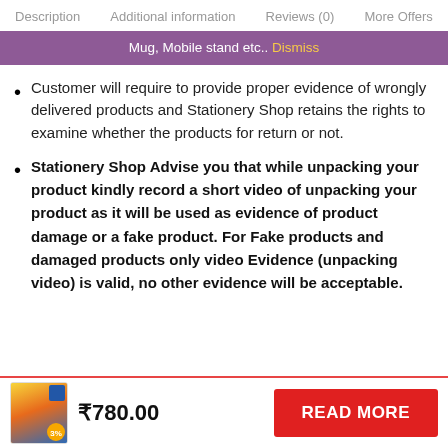Description   Additional information   Reviews (0)   More Offers
Mug, Mobile stand etc..  Dismiss
Customer will require to provide proper evidence of wrongly delivered products and Stationery Shop retains the rights to examine whether the products for return or not.
Stationery Shop Advise you that while unpacking your product kindly record a short video of unpacking your product as it will be used as evidence of product damage or a fake product. For Fake products and damaged products only video Evidence (unpacking video) is valid, no other evidence will be acceptable.
₹780.00
READ MORE